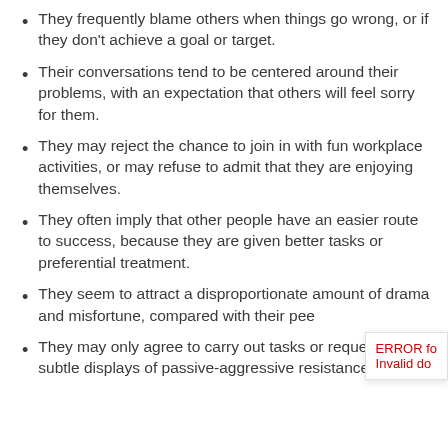They frequently blame others when things go wrong, or if they don't achieve a goal or target.
Their conversations tend to be centered around their problems, with an expectation that others will feel sorry for them.
They may reject the chance to join in with fun workplace activities, or may refuse to admit that they are enjoying themselves.
They often imply that other people have an easier route to success, because they are given better tasks or preferential treatment.
They seem to attract a disproportionate amount of drama and misfortune, compared with their peers.
They may only agree to carry out tasks or requests after subtle displays of passive-aggressive resistance.